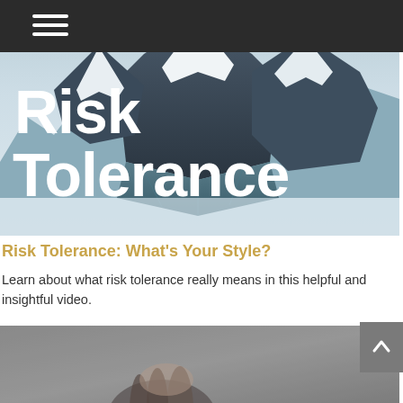[Figure (photo): Aerial view of snow-capped mountain peaks with the text 'Risk Tolerance' overlaid in large white bold font]
Risk Tolerance: What’s Your Style?
Learn about what risk tolerance really means in this helpful and insightful video.
[Figure (photo): Partial view of a person's hand against a blurred dark background, bottom portion of page]